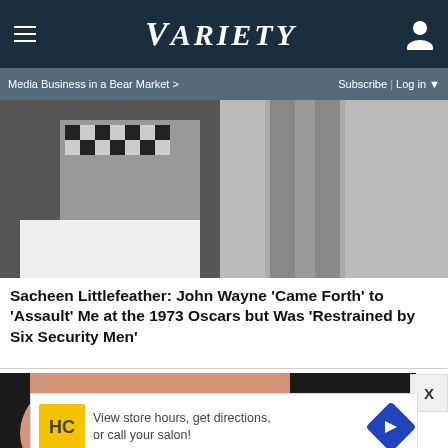Variety — Media Business in a Bear Market > | Subscribe | Log in
[Figure (photo): Black and white photo showing two people, one in a patterned/checkered outfit and another in a dark buttoned shirt/vest]
Sacheen Littlefeather: John Wayne 'Came Forth' to 'Assault' Me at the 1973 Oscars but Was 'Restrained by Six Security Men'
[Figure (photo): Color photo showing a close-up of a finger touching a red sugary candy against a dark background]
[Figure (infographic): Advertisement: HC logo (yellow square), text 'View store hours, get directions, or call your salon!' with a blue navigation arrow icon]